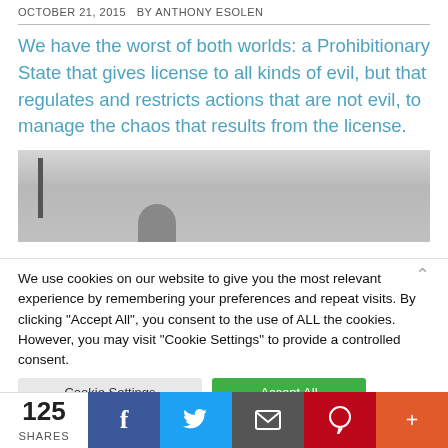OCTOBER 21, 2015  BY ANTHONY ESOLEN
We have the worst of both worlds: a Prohibitionary State that gives license to all kinds of evil, but that regulates and restricts actions that are not evil, to manage the chaos that results from the license.
[Figure (photo): Black and white photograph, partially visible, showing a person's head at the bottom and what appears to be a cable on the left side]
We use cookies on our website to give you the most relevant experience by remembering your preferences and repeat visits. By clicking "Accept All", you consent to the use of ALL the cookies. However, you may visit "Cookie Settings" to provide a controlled consent.
125 SHARES
[Figure (infographic): Social share bar with Facebook, Twitter, Email, Pinterest, and More buttons]